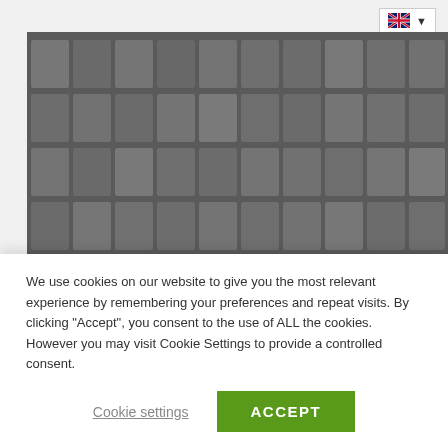[Figure (photo): Black and white photo wall of employee headshots with a transparent Deloitte award trophy in the foreground. The trophy shows 'Deloitte' branding and 'Winner' text.]
Eurofork / 19 September 2020
We use cookies on our website to give you the most relevant experience by remembering your preferences and repeat visits. By clicking "Accept", you consent to the use of ALL the cookies. However you may visit Cookie Settings to provide a controlled consent.
Cookie settings
ACCEPT